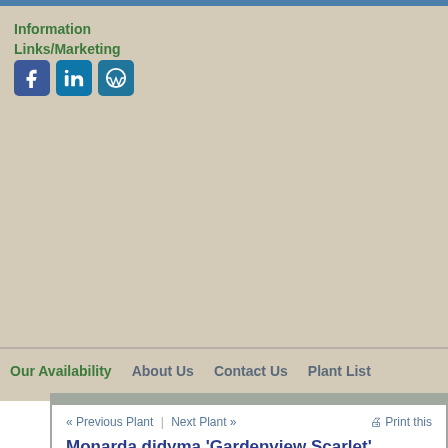Information Links/Marketing
[Figure (illustration): Social media icons: Facebook, LinkedIn, WordPress]
Our Availability | About Us | Contact Us | Plant List
« Previous Plant  |  Next Plant »   Print this
Monarda didyma 'Gardenview Scarlet'
Gardenview Scarlet beebalm
Native to North America (cultivar)
CHECK AVAILABILITY
Powdery mildew resistant and long flowering .  Plants grow in but will tolerate some drought.  Deer tolerant, and a magnet fo